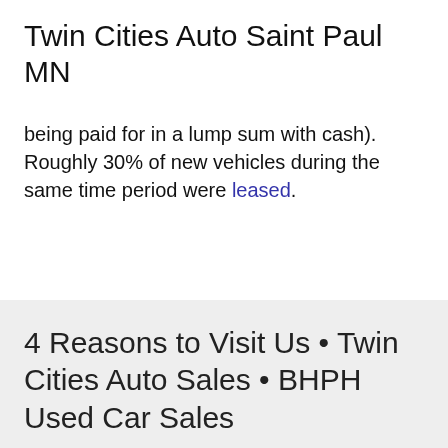Twin Cities Auto Saint Paul MN
being paid for in a lump sum with cash). Roughly 30% of new vehicles during the same time period were leased.
4 Reasons to Visit Us • Twin Cities Auto Sales • BHPH Used Car Sales